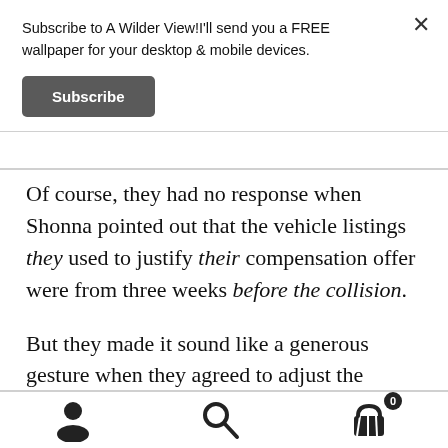Subscribe to A Wilder View!I'll send you a FREE wallpaper for your desktop & mobile devices.
Subscribe
Of course, they had no response when Shonna pointed out that the vehicle listings they used to justify their compensation offer were from three weeks before the collision.
But they made it sound like a generous gesture when they agreed to adjust the settlement to account for the new tires.
[Figure (infographic): Footer navigation bar with user icon, search icon, and shopping cart icon with badge showing 0]